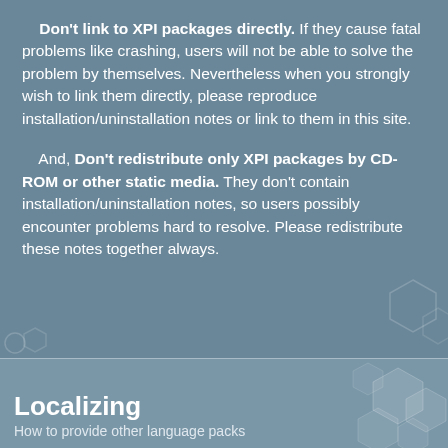Don't link to XPI packages directly. If they cause fatal problems like crashing, users will not be able to solve the problem by themselves. Nevertheless when you strongly wish to link them directly, please reproduce installation/uninstallation notes or link to them in this site.
And, Don't redistribute only XPI packages by CD-ROM or other static media. They don't contain installation/uninstallation notes, so users possibly encounter problems hard to resolve. Please redistribute these notes together always.
Localizing
How to provide other language packs